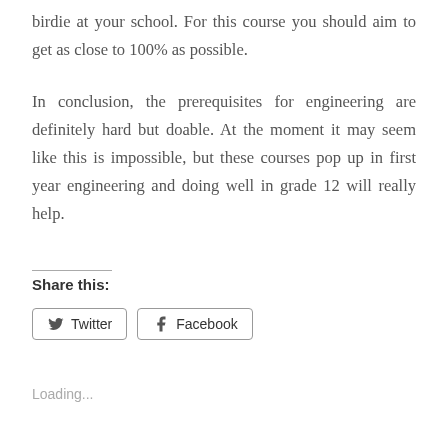birdie at your school. For this course you should aim to get as close to 100% as possible.
In conclusion, the prerequisites for engineering are definitely hard but doable. At the moment it may seem like this is impossible, but these courses pop up in first year engineering and doing well in grade 12 will really help.
Share this:
Twitter  Facebook
Loading...